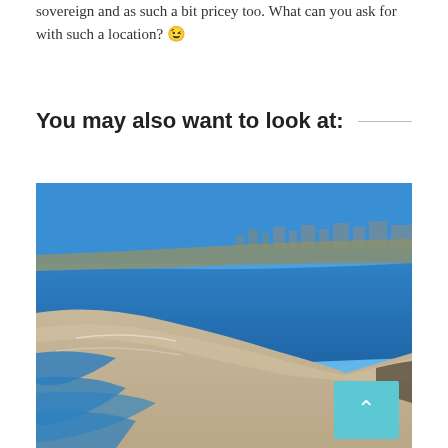sovereign and as such a bit pricey too. What can you ask for with such a location? 🙂
You may also want to look at:
[Figure (photo): Aerial photograph of a coastal city with a curved sandy beach, blue ocean waters, and urban development visible in the background. A light blue scroll-to-top button with an upward arrow is overlaid in the bottom-right corner of the image.]